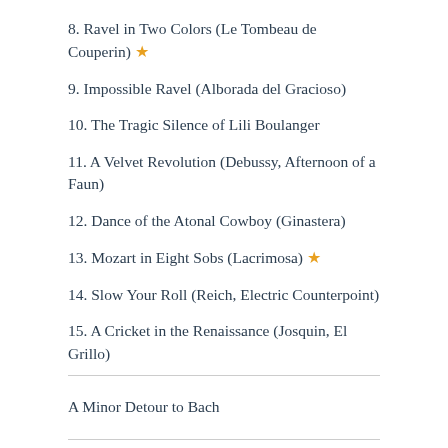8. Ravel in Two Colors (Le Tombeau de Couperin) ★
9. Impossible Ravel (Alborada del Gracioso)
10. The Tragic Silence of Lili Boulanger
11. A Velvet Revolution (Debussy, Afternoon of a Faun)
12. Dance of the Atonal Cowboy (Ginastera)
13. Mozart in Eight Sobs (Lacrimosa) ★
14. Slow Your Roll (Reich, Electric Counterpoint)
15. A Cricket in the Renaissance (Josquin, El Grillo)
A Minor Detour to Bach
Porn for Music Theoryheads (Amadeus)